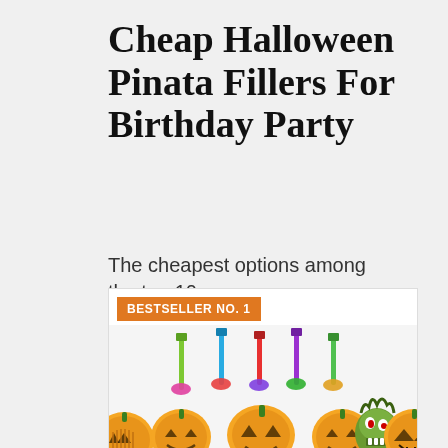Cheap Halloween Pinata Fillers For Birthday Party
The cheapest options among the top 10:
[Figure (infographic): Product card with orange BESTSELLER NO. 1 badge showing colorful party blowouts/noisemakers displayed above a row of carved Halloween jack-o-lantern pumpkins and a zombie cartoon character]
BESTSELLER NO. 1